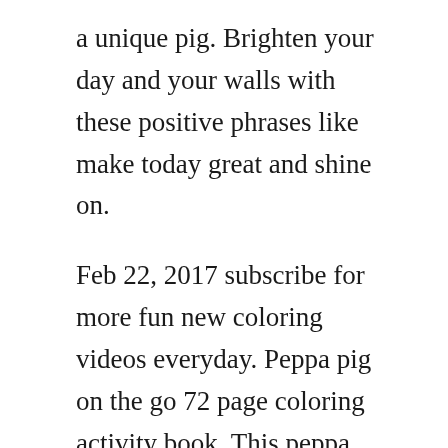a unique pig. Brighten your day and your walls with these positive phrases like make today great and shine on.
Feb 22, 2017 subscribe for more fun new coloring videos everyday. Peppa pig on the go 72 page coloring activity book. This peppa pig coloring book set with peppa pig crayons will provide many hours of fun with games, puzzles, mazes and coloring activities. Peppa pig colouring in picture for children at ichild. At kidsnfun you will always find the nicest coloring pages first. Donations and wish list